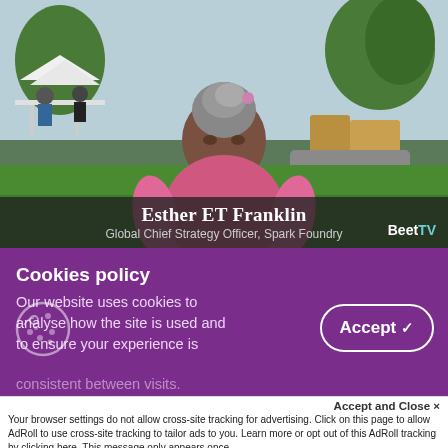[Figure (photo): Video thumbnail showing Esther ET Franklin, Global Chief Strategy Officer of Spark Foundry, seated outdoors at what appears to be an event venue with people in background. She is wearing a pink sleeveless top. Lower third overlay shows her name and title. BeetTV logo in bottom right.]
Esther ET Franklin
Global Chief Strategy Officer, Spark Foundry
BeetTV
Cookies policy
Our website uses cookies to analyse how the site is used and to ensure your experience is consistent between visits.
Accept
Accept and Close ✕
Your browser settings do not allow cross-site tracking for advertising. Click on this page to allow AdRoll to use cross-site tracking to tailor ads to you. Learn more or opt out of this AdRoll tracking by clicking here. This message only appears once.